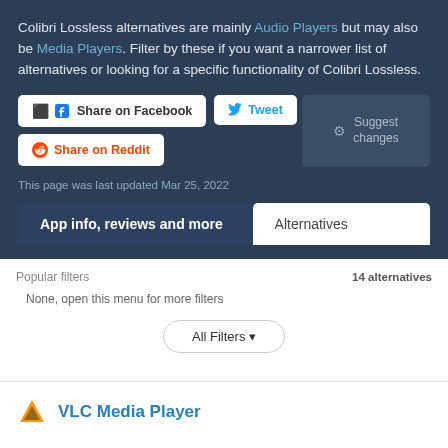Colibri Lossless alternatives are mainly Audio Players but may also be Media Players. Filter by these if you want a narrower list of alternatives or looking for a specific functionality of Colibri Lossless.
Share on Facebook
Tweet
Share on Reddit
Suggest changes
This page was last updated Mar 25, 2022
App info, reviews and more
Alternatives
Popular filters
14 alternatives
None, open this menu for more filters
All Filters
VLC Media Player